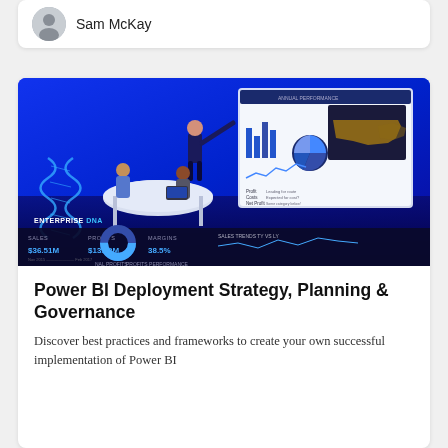Sam McKay
[Figure (illustration): Isometric illustration of business professionals presenting Power BI dashboards with charts, maps, and KPI metrics on a large screen. Enterprise DNA branding visible.]
Power BI Deployment Strategy, Planning & Governance
Discover best practices and frameworks to create your own successful implementation of Power BI